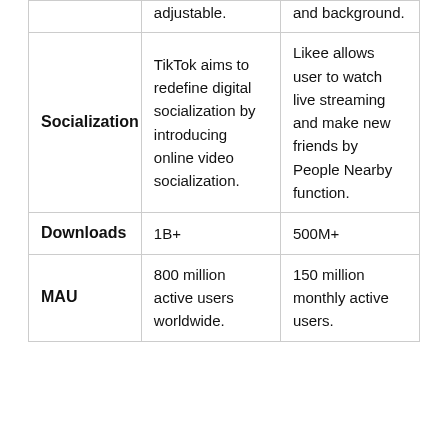|  | adjustable. | and background. |
| Socialization | TikTok aims to redefine digital socialization by introducing online video socialization. | Likee allows user to watch live streaming and make new friends by People Nearby function. |
| Downloads | 1B+ | 500M+ |
| MAU | 800 million active users worldwide. | 150 million monthly active users. |